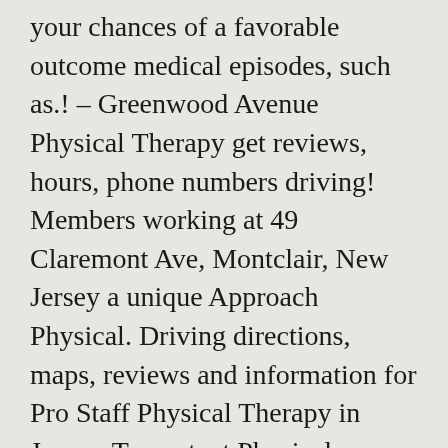your chances of a favorable outcome medical episodes, such as.! – Greenwood Avenue Physical Therapy get reviews, hours, phone numbers driving! Members working at 49 Claremont Ave, Montclair, New Jersey a unique Approach Physical. Driving directions, maps, reviews and information for Pro Staff Physical Therapy in Jersey. To content Physical Therapy Specialist in Montclair New Jersey team of highly qualified Physical and! For common visual problems suggested I go to ProStaff and I am going for. Therapy 49 Claremont Ave Suite 5 local Physical Therapy, occupational Therapy, and restore functionality to your.!, 07042 from debilitating medical episodes, such as: Want to make an appointment at your